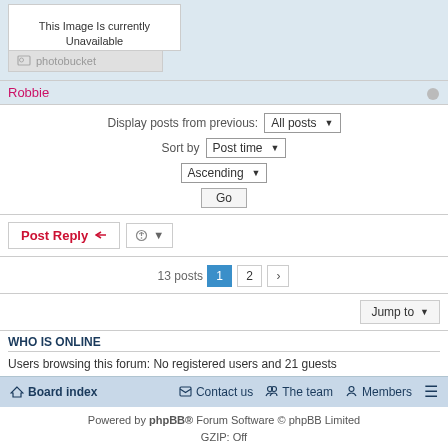[Figure (screenshot): Image placeholder box showing 'This Image Is currently Unavailable' with photobucket branding bar]
Robbie
Display posts from previous: All posts
Sort by Post time
Ascending
Go
Post Reply  [tools dropdown]
13 posts  1  2  >
Jump to
WHO IS ONLINE
Users browsing this forum: No registered users and 21 guests
Board index  Contact us  The team  Members
Powered by phpBB® Forum Software © phpBB Limited
GZIP: Off